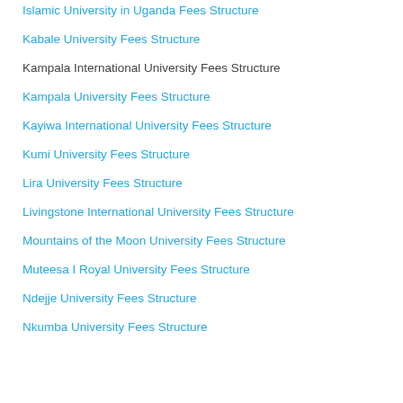Islamic University in Uganda Fees Structure
Kabale University Fees Structure
Kampala International University Fees Structure
Kampala University Fees Structure
Kayiwa International University Fees Structure
Kumi University Fees Structure
Lira University Fees Structure
Livingstone International University Fees Structure
Mountains of the Moon University Fees Structure
Muteesa I Royal University Fees Structure
Ndejje University Fees Structure
Nkumba University Fees Structure